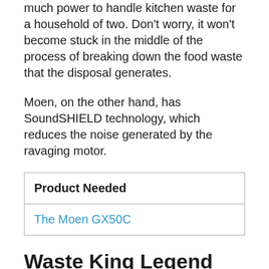much power to handle kitchen waste for a household of two. Don't worry, it won't become stuck in the middle of the process of breaking down the food waste that the disposal generates.
Moen, on the other hand, has SoundSHIELD technology, which reduces the noise generated by the ravaging motor.
| Product Needed |
| --- |
| The Moen GX50C |
Waste King Legend Series 1/2 HP Garbage Disposal...